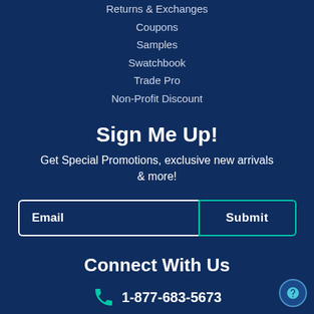Returns & Exchanges
Coupons
Samples
Swatchbook
Trade Pro
Non-Profit Discount
Sign Me Up!
Get Special Promotions, exclusive new arrivals & more!
Email | Submit
Connect With Us
1-877-683-5673
Live Chat